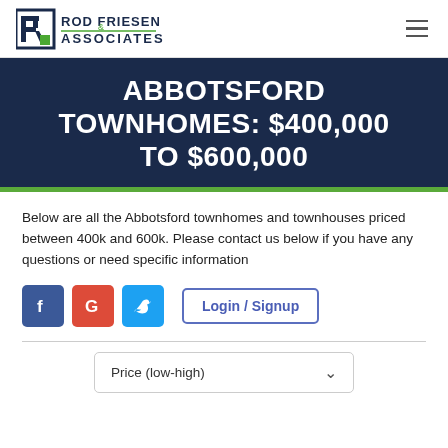Rod Friesen & Associates — navigation logo and hamburger menu
ABBOTSFORD TOWNHOMES: $400,000 TO $600,000
Below are all the Abbotsford townhomes and townhouses priced between 400k and 600k. Please contact us below if you have any questions or need specific information
[Figure (infographic): Social media icons (Facebook, Google, Twitter) and a Login / Signup button]
Price (low-high)